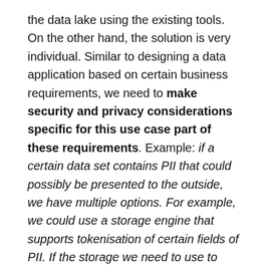the data lake using the existing tools. On the other hand, the solution is very individual. Similar to designing a data application based on certain business requirements, we need to make security and privacy considerations specific for this use case part of these requirements. Example: if a certain data set contains PII that could possibly be presented to the outside, we have multiple options. For example, we could use a storage engine that supports tokenisation of certain fields of PII. If the storage we need to use to deliver our use case requirements does not support tokenisation, then we would need to make sure to tokenise, anonymise or encrypt those fields at the time of data ingestion. If,... – I hope you get the idea. It's important to look closely into your